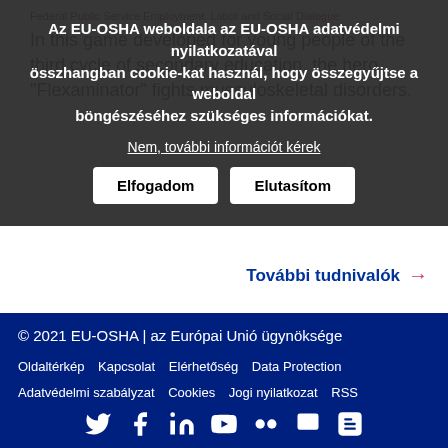Federal Public Service Employment, Labor and Social Dialogue
In this game developed for young people of the third cycle of secondary education, the hero "Flexaminator" fights musculoskeletal disorders.
Az EU-OSHA weboldala az EU-OSHA adatvédelmi nyilatkozatával összhangban cookie-kat használ, hogy összegyűjtse a weboldal böngészéséhez szükséges információkat.
Nem, további információt kérek
Elfogadom
Elutasítom
További tudnivalók →
© 2021 EU-OSHA | az Európai Unió ügynöksége
Oldaltérkép   Kapcsolat   Elérhetőség   Data Protection
Adatvédelmi szabályzat   Cookies   Jogi nyilatkozat   RSS